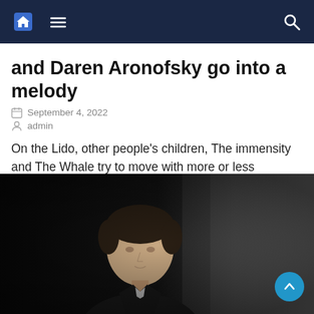Navigation bar with home, menu, and search icons
and Daren Aronofsky go into a melody
September 4, 2022
admin
On the Lido, other people’s children, The immensity and The Whale try to move with more or less happiness. Special Envoy to Venice After the coup de force (the cannibals of Bones and Allthe warring city ofAthena ), the Lido pours into sentiment. All kinds of feelings. The beautiful ones, the good ones and the [...]
[Figure (photo): Dark portrait photograph of a man with dark hair wearing a dark suit jacket, looking slightly off-camera, against a dark/grey background]